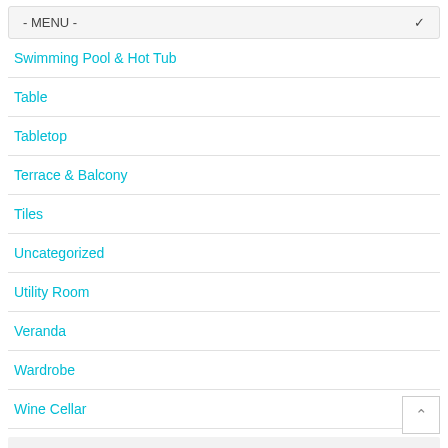- MENU -
Swimming Pool & Hot Tub
Table
Tabletop
Terrace & Balcony
Tiles
Uncategorized
Utility Room
Veranda
Wardrobe
Wine Cellar
Recent Search
dresser with 12 inch depth drawers